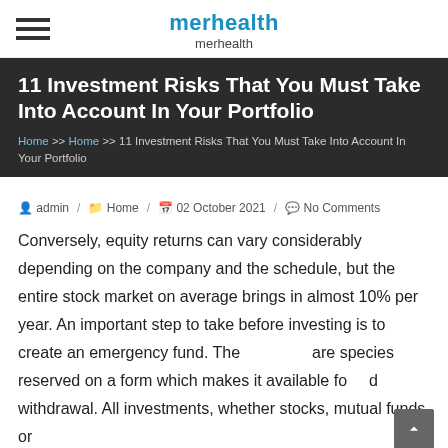merhealth / merhealth
11 Investment Risks That You Must Take Into Account In Your Portfolio
Home >> Home >> 11 Investment Risks That You Must Take Into Account In Your Portfolio
admin / Home / 02 October 2021 / No Comments
Conversely, equity returns can vary considerably depending on the company and the schedule, but the entire stock market on average brings in almost 10% per year. An important step to take before investing is to create an emergency fund. These are species reserved on a form which makes it available for rapid withdrawal. All investments, whether stocks, mutual funds or